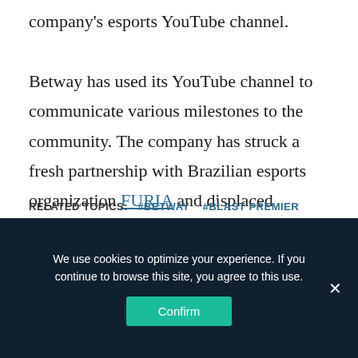company's esports YouTube channel. Betway has used its YouTube channel to communicate various milestones to the community. The company has struck a fresh partnership with Brazilian esports organization FURIA and displaced Rivalry.gg, a fellow esports-first betting company, as the official sponsor.
RELATED TOPICS: #betway  #blast premier
We use cookies to optimize your experience. If you continue to browse this site, you agree to this use.